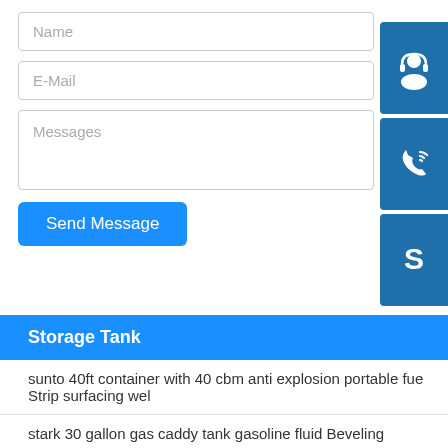Name
E-Mail
Messages
Send Message
[Figure (infographic): Three blue square icon buttons on the right side: customer support headset icon, phone with signal waves icon, and Skype 'S' logo icon]
Storage Tank
sunto 40ft container with 40 cbm anti explosion portable fue Strip surfacing wel
stark 30 gallon gas caddy tank gasoline fluid Beveling